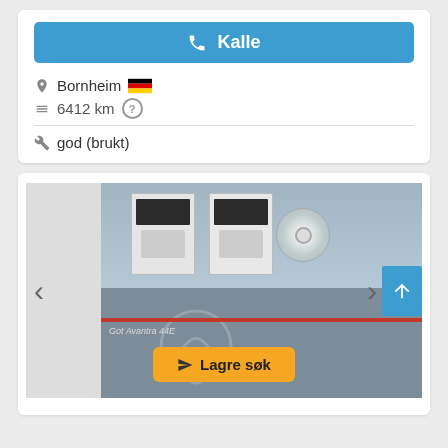Kalle (call button)
Bornheim (Germany)
6412 km
god (brukt)
[Figure (photo): Photo of two software manuals/boxes and a CD disc on top of a machine (Avantra 44E), with a watermark overlay. Navigation arrows on left and right. A yellow 'Lagre søk' button at the bottom.]